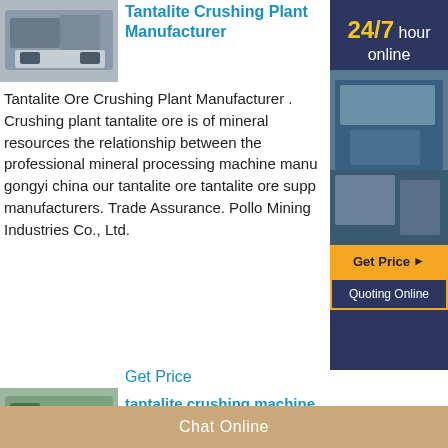[Figure (photo): Industrial crushing/mining machine, gray equipment on factory floor]
Tantalite Crushing Plant Manufacturer
Tantalite Ore Crushing Plant Manufacturer . Crushing plant tantalite ore is of mineral resources the relationship between the professional mineral processing machine manu gongyi china our tantalite ore tantalite ore supp manufacturers. Trade Assurance. Pollo Mining Industries Co., Ltd.
[Figure (infographic): Sidebar with 24/7 hour online text, mining plant photo, Get Price button, Quoting Online button]
Get Price
[Figure (photo): Green tracked mobile crushing machine in warehouse]
tantalite crushing machine Prominer (Shanghai ...
Tantalite mining equipment 7C crusher news tantalite mining equipment 7 crusher news crushing coal mining crusher equipment japan youtube jul 30 2014 used salt and other mineral mining in australia industry market . Demandez le prix . Get Price. manufacturer
Chat Online